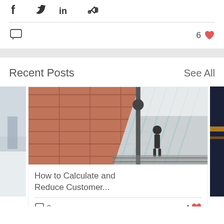[Figure (infographic): Social share icons: Facebook, Twitter, LinkedIn, link]
6 ♥
Recent Posts
See All
[Figure (photo): Photo of person standing on escalator handrail of modern building with red panels and glass railing]
How to Calculate and Reduce Customer...
0  4 ♥